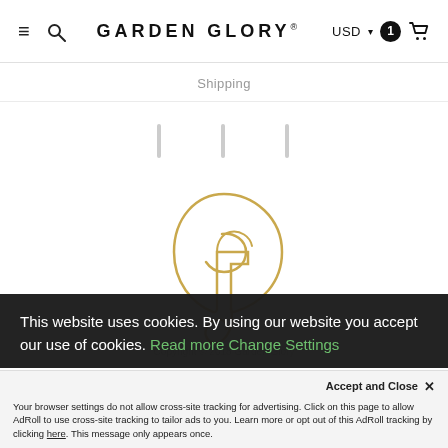≡ 🔍 GARDEN GLORY® USD ▾ 1 🛒
Shipping
[Figure (logo): Three thin vertical bar icons (social media placeholders) in light gray]
[Figure (logo): Garden Glory GG monogram logo in gold/tan cursive script]
Copyright © 2018 Garden Glory
This website uses cookies. By using our website you accept our use of cookies. Read more Change Settings
Accept and Close ✕
Your browser settings do not allow cross-site tracking for advertising. Click on this page to allow AdRoll to use cross-site tracking to tailor ads to you. Learn more or opt out of this AdRoll tracking by clicking here. This message only appears once.